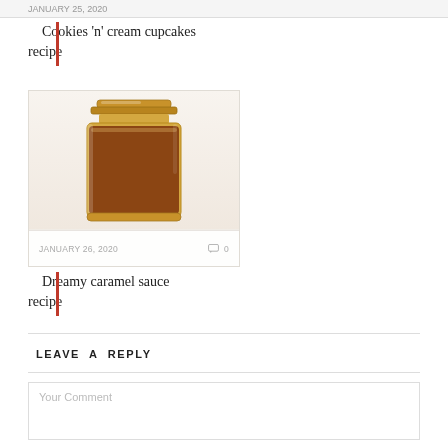JANUARY 25, 2020
Cookies 'n' cream cupcakes recipe
[Figure (photo): A glass jar filled with brown caramel sauce on a white/light background]
JANUARY 26, 2020   0
Dreamy caramel sauce recipe
LEAVE A REPLY
Your Comment